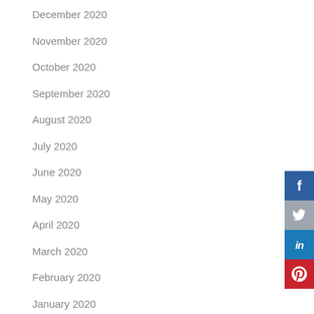December 2020
November 2020
October 2020
September 2020
August 2020
July 2020
June 2020
May 2020
April 2020
March 2020
February 2020
January 2020
December 2019
November 2019
October 2019
[Figure (infographic): Social media share buttons: Facebook (blue), Twitter (grey), LinkedIn (blue), Pinterest (red), each with their respective icons]